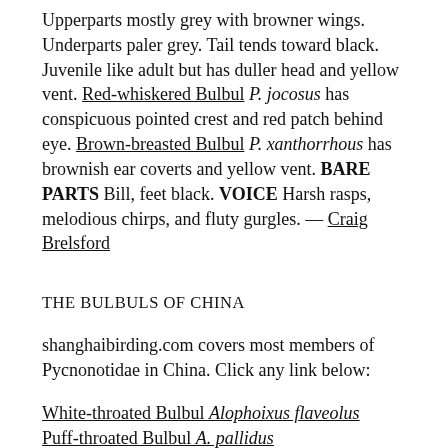Upperparts mostly grey with browner wings. Underparts paler grey. Tail tends toward black. Juvenile like adult but has duller head and yellow vent. Red-whiskered Bulbul P. jocosus has conspicuous pointed crest and red patch behind eye. Brown-breasted Bulbul P. xanthorrhous has brownish ear coverts and yellow vent. BARE PARTS Bill, feet black. VOICE Harsh rasps, melodious chirps, and fluty gurgles. — Craig Brelsford
THE BULBULS OF CHINA
shanghaibirding.com covers most members of Pycnonotidae in China. Click any link below:
White-throated Bulbul Alophoixus flaveolus
Puff-throated Bulbul A. pallidus
Striated Bulbul Alcurus striatus
Grey-eyed Bulbul Iole propinqua